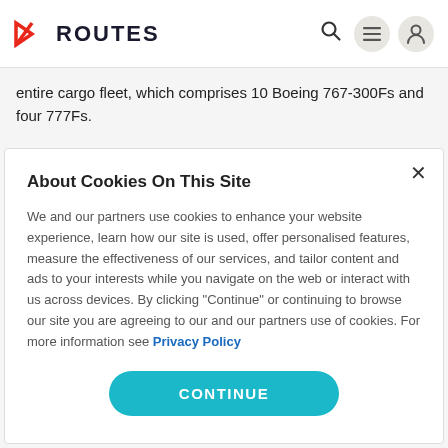ROUTES
entire cargo fleet, which comprises 10 Boeing 767-300Fs and four 777Fs.
About Cookies On This Site
We and our partners use cookies to enhance your website experience, learn how our site is used, offer personalised features, measure the effectiveness of our services, and tailor content and ads to your interests while you navigate on the web or interact with us across devices. By clicking "Continue" or continuing to browse our site you are agreeing to our and our partners use of cookies. For more information see Privacy Policy
CONTINUE